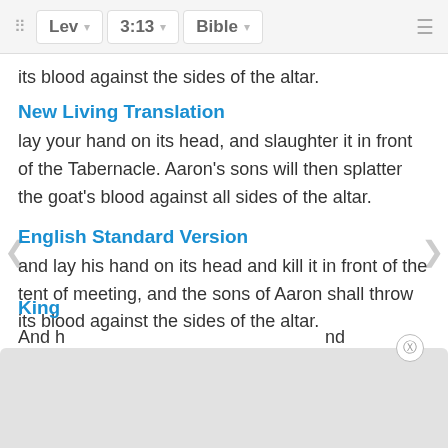Lev  3:13  Bible
its blood against the sides of the altar.
New Living Translation
lay your hand on its head, and slaughter it in front of the Tabernacle. Aaron's sons will then splatter the goat's blood against all sides of the altar.
English Standard Version
and lay his hand on its head and kill it in front of the tent of meeting, and the sons of Aaron shall throw its blood against the sides of the altar.
Berean Study Bible
He must lay his hand on its head and slaughter it in front of the Tent of Meeting. Then Aaron's sons shall sprinkle its blood on all sides of the altar.
King
And h                                                            nd kill it b